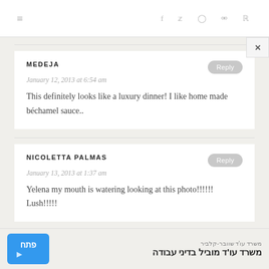≡  f  twitter  instagram  pinterest  rss
MEDEJA
January 12, 2013 at 6:54 am
This definitely looks like a luxury dinner! I like home made béchamel sauce..
NICOLETTA PALMAS
January 13, 2013 at 1:37 am
Yelena my mouth is watering looking at this photo!!!!!! Lush!!!!!
משרד עו'ד שוובר-קלביר
משרד עו'ד מוביל בדיני עבודה
פתח